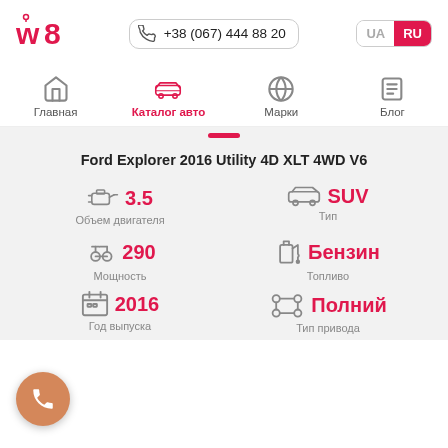w8
+38 (067) 444 88 20
Главная
Каталог авто
Марки
Блог
Ford Explorer 2016 Utility 4D XLT 4WD V6
| Параметр | Значение |
| --- | --- |
| Объем двигателя | 3.5 |
| Тип | SUV |
| Мощность | 290 |
| Топливо | Бензин |
| Год выпуска | 2016 |
| Тип привода | Полний |